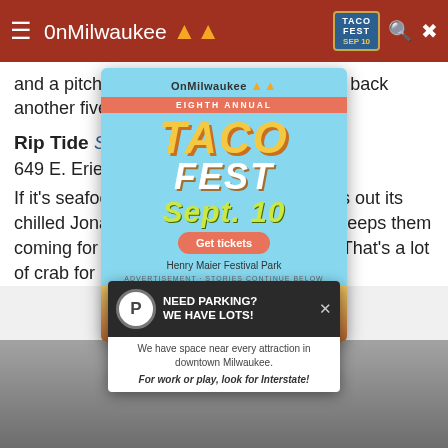OnMilwaukee | TACO FEST SEP 10
and a pitcher of High Life will only set you back another fiver.
Rip Tide Seafood Bar and Grill
649 E. Erie St., (414) 271-8433
If it's seafood you're craving, Rip Tide rolls out its chilled Jonah Crab claws at 11 a.m. and keeps them coming for 50 cents a piece until 11 p.m. That's a lot of crab for not a lot of coin.
[Figure (screenshot): Taco Fest advertisement overlay popup with OnMilwaukee branding, 'Eighth Annual Taco Fest Sept. 10' at Henry Maier Festival Park with Get Tickets button]
[Figure (screenshot): Interstate parking advertisement: 'Need Parking? We Have Lots!' with text about space near every attraction in downtown Milwaukee]